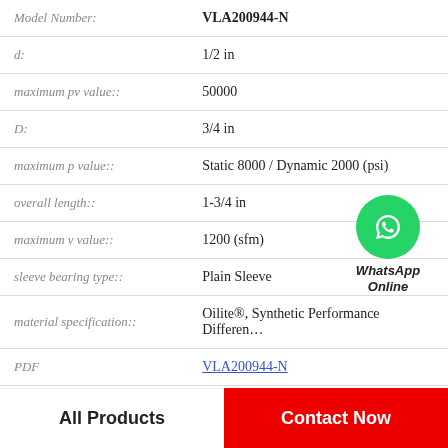| Attribute | Value |
| --- | --- |
| Model Number: | VLA200944-N |
| d: | 1/2 in |
| maximum pv value:: | 50000 |
| D: | 3/4 in |
| maximum p value:: | Static 8000 / Dynamic 2000 (psi) |
| overall length:: | 1-3/4 in |
| maximum v value:: | 1200 (sfm) |
| sleeve bearing type:: | Plain Sleeve |
| material specification:: | Oilite®, Synthetic Performance Differen... |
| PDF | VLA200944-N |
[Figure (logo): WhatsApp Online badge with green circle and phone icon]
All Products   Contact Now